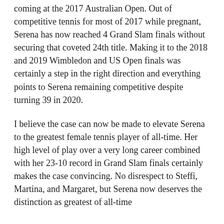coming at the 2017 Australian Open. Out of competitive tennis for most of 2017 while pregnant, Serena has now reached 4 Grand Slam finals without securing that coveted 24th title. Making it to the 2018 and 2019 Wimbledon and US Open finals was certainly a step in the right direction and everything points to Serena remaining competitive despite turning 39 in 2020.
I believe the case can now be made to elevate Serena to the greatest female tennis player of all-time. Her high level of play over a very long career combined with her 23-10 record in Grand Slam finals certainly makes the case convincing. No disrespect to Steffi, Martina, and Margaret, but Serena now deserves the distinction as greatest of all-time
RELATED TOPICS: #AUSTRALIA #TENNIS #THE 10 #TOP 10 #TOP TEN